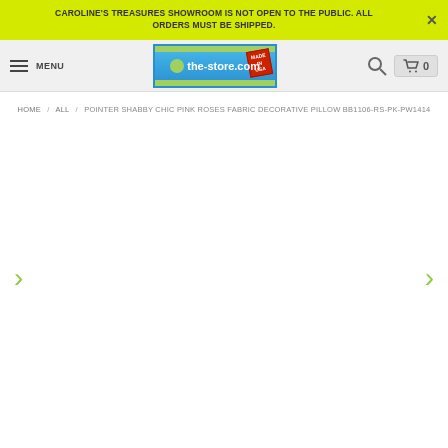CAROLINE'S TREASURES SHOWROOM IS NOT OPEN TO THE PUBLIC. ALL ORDERS MUST BE SHIPPED.
[Figure (logo): the-store.com logo with Made in USA stamp on blue background with green stripes]
HOME / ALL / POINTER SHABBY CHIC PINK ROSES FABRIC DECORATIVE PILLOW BB1106-RS-PK-PW1414